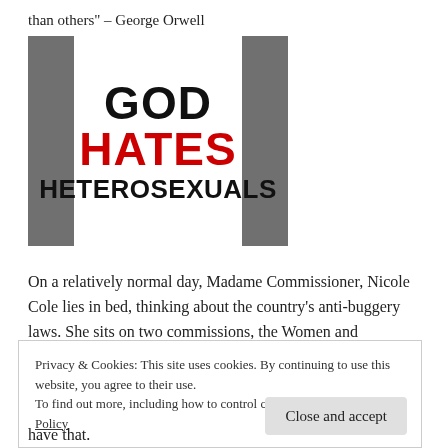than others" – George Orwell
[Figure (illustration): Sign with text 'GOD HATES HETEROSEXUALS' — 'GOD' in black, 'HATES' in red, 'HETEROSEXUALS' in black, on white background with gray side bars]
On a relatively normal day, Madame Commissioner, Nicole Cole lies in bed, thinking about the country's anti-buggery laws. She sits on two commissions, the Women and
Privacy & Cookies: This site uses cookies. By continuing to use this website, you agree to their use.
To find out more, including how to control cookies, see here: Cookie Policy
Close and accept
have that.